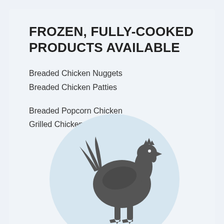FROZEN, FULLY-COOKED PRODUCTS AVAILABLE
Breaded Chicken Nuggets
Breaded Chicken Patties
Breaded Popcorn Chicken
Grilled Chicken Patties
[Figure (illustration): Silhouette of a chicken (rooster) in dark gray color on a light blue circle background]